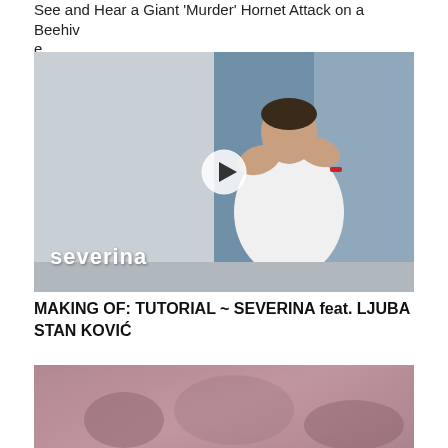See and Hear a Giant 'Murder' Hornet Attack on a Beehive
[Figure (photo): Video thumbnail showing a young boy in a white shirt with hands cupped near his mouth, standing against a white and blue wall. A white circular play button is overlaid in the center. The word 'severina' appears in white bold text in the lower left corner.]
MAKING OF: TUTORIAL ~ SEVERINA feat. LJUBA STANKOVIĆ
[Figure (photo): Video thumbnail with a pinkish-purple hazy/smoky atmospheric scene, partially visible at the bottom of the page.]